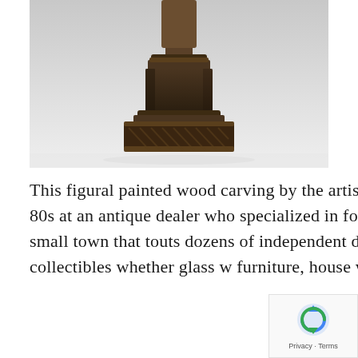[Figure (photo): Close-up photograph of the base/pedestal of a figural painted wood carving — a dark brown ornate tiered square base with rope-twist decorative border, photographed against a light gray background.]
This figural painted wood carving by the artist Jack Phelps, was originally discovered in the late 80s at an antique dealer who specialized in folk art at their shop in Lebanon, Ohio. Lebanon is a small town that touts dozens of independent dealers and antique malls specializing in collectibles whether glass w furniture, house wares, ....